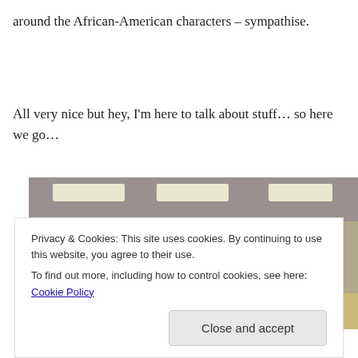around the African-American characters – sympathise.
All very nice but hey, I'm here to talk about stuff… so here we go…
[Figure (photo): A still from a TV show showing men in suits walking through a 1960s office environment with glass partitions and ceiling lights.]
Privacy & Cookies: This site uses cookies. By continuing to use this website, you agree to their use.
To find out more, including how to control cookies, see here: Cookie Policy
Close and accept